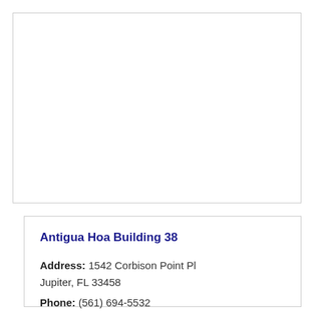[Figure (other): Empty white box with light gray border, likely a placeholder for a building photo]
Antigua Hoa Building 38
Address: 1542 Corbison Point Pl Jupiter, FL 33458
Phone: (561) 694-5532